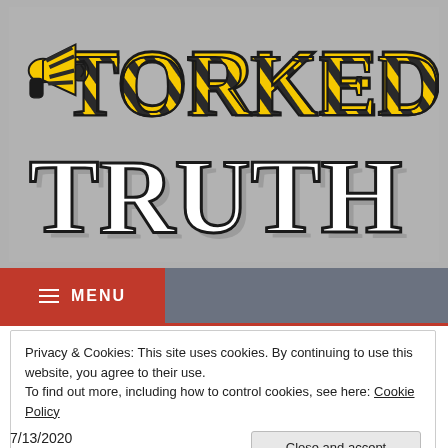[Figure (logo): Torked Truth website logo with stylized yellow-and-black striped text 'TORKED' above white 3D block letters 'TRUTH', with a megaphone icon, on a grey background]
≡ MENU
Privacy & Cookies: This site uses cookies. By continuing to use this website, you agree to their use.
To find out more, including how to control cookies, see here: Cookie Policy
Close and accept
7/13/2020